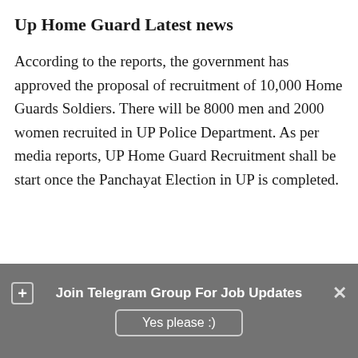Up Home Guard Latest news
According to the reports, the government has approved the proposal of recruitment of 10,000 Home Guards Soldiers. There will be 8000 men and 2000 women recruited in UP Police Department. As per media reports, UP Home Guard Recruitment shall be start once the Panchayat Election in UP is completed.
Join Telegram Group For Job Updates | Yes please :)